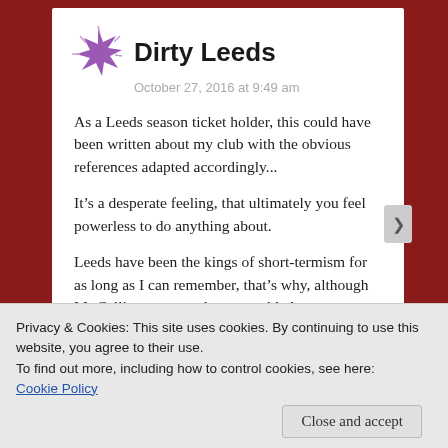Dirty Leeds
October 27, 2016 at 9:49 am
As a Leeds season ticket holder, this could have been written about my club with the obvious references adapted accordingly...
It’s a desperate feeling, that ultimately you feel powerless to do anything about.
Leeds have been the kings of short-termism for as long as I can remember, that’s why, although Mr Cellino seems to have stumbled
Privacy & Cookies: This site uses cookies. By continuing to use this website, you agree to their use.
To find out more, including how to control cookies, see here: Cookie Policy
Close and accept